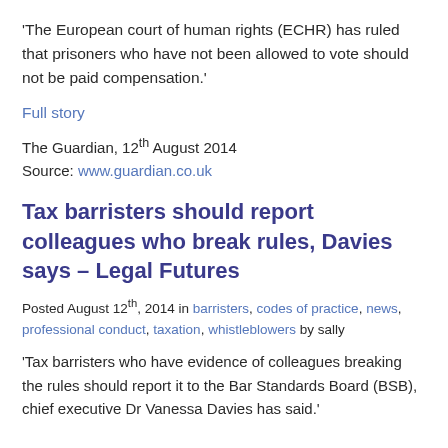'The European court of human rights (ECHR) has ruled that prisoners who have not been allowed to vote should not be paid compensation.'
Full story
The Guardian, 12th August 2014
Source: www.guardian.co.uk
Tax barristers should report colleagues who break rules, Davies says – Legal Futures
Posted August 12th, 2014 in barristers, codes of practice, news, professional conduct, taxation, whistleblowers by sally
'Tax barristers who have evidence of colleagues breaking the rules should report it to the Bar Standards Board (BSB), chief executive Dr Vanessa Davies has said.'